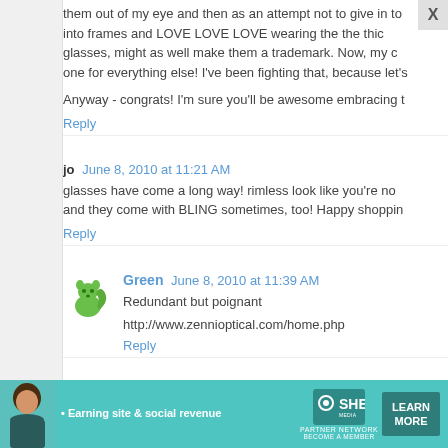them out of my eye and then as an attempt not to give in to into frames and LOVE LOVE LOVE wearing the the thic glasses, might as well make them a trademark. Now, my c one for everything else! I've been fighting that, because let's
Anyway - congrats! I'm sure you'll be awesome embracing t
Reply
jo  June 8, 2010 at 11:21 AM
glasses have come a long way! rimless look like you're no and they come with BLING sometimes, too! Happy shoppin
Reply
Green  June 8, 2010 at 11:39 AM
Redundant but poignant
http://www.zennioptical.com/home.php
Reply
Anonymous  June 8, 2010 at 11:43 AM